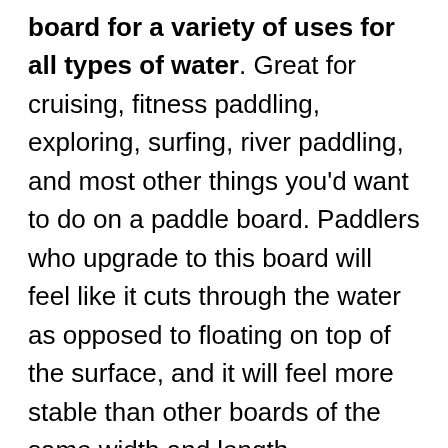board for a variety of uses for all types of water. Great for cruising, fitness paddling, exploring, surfing, river paddling, and most other things you'd want to do on a paddle board. Paddlers who upgrade to this board will feel like it cuts through the water as opposed to floating on top of the surface, and it will feel more stable than other boards of the same width and length. Permanent unbreakable fins simplify board setup and reduce equipment involvement for those who want the most carefree